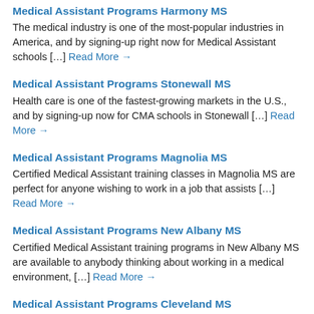Medical Assistant Programs Harmony MS
The medical industry is one of the most-popular industries in America, and by signing-up right now for Medical Assistant schools […] Read More →
Medical Assistant Programs Stonewall MS
Health care is one of the fastest-growing markets in the U.S., and by signing-up now for CMA schools in Stonewall […] Read More →
Medical Assistant Programs Magnolia MS
Certified Medical Assistant training classes in Magnolia MS are perfect for anyone wishing to work in a job that assists […] Read More →
Medical Assistant Programs New Albany MS
Certified Medical Assistant training programs in New Albany MS are available to anybody thinking about working in a medical environment, […] Read More →
Medical Assistant Programs Cleveland MS